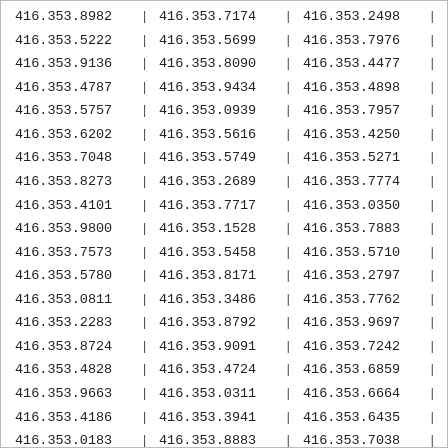| col1 | sep1 | col2 | sep2 | col3 | sep3 |
| --- | --- | --- | --- | --- | --- |
| 416.353.8982 | | | 416.353.7174 | | | 416.353.2498 | | |
| 416.353.5222 | | | 416.353.5699 | | | 416.353.7976 | | |
| 416.353.9136 | | | 416.353.8090 | | | 416.353.4477 | | |
| 416.353.4787 | | | 416.353.9434 | | | 416.353.4898 | | |
| 416.353.5757 | | | 416.353.0939 | | | 416.353.7957 | | |
| 416.353.6202 | | | 416.353.5616 | | | 416.353.4250 | | |
| 416.353.7048 | | | 416.353.5749 | | | 416.353.5271 | | |
| 416.353.8273 | | | 416.353.2689 | | | 416.353.7774 | | |
| 416.353.4101 | | | 416.353.7717 | | | 416.353.0350 | | |
| 416.353.9800 | | | 416.353.1528 | | | 416.353.7883 | | |
| 416.353.7573 | | | 416.353.5458 | | | 416.353.5710 | | |
| 416.353.5780 | | | 416.353.8171 | | | 416.353.2797 | | |
| 416.353.0811 | | | 416.353.3486 | | | 416.353.7762 | | |
| 416.353.2283 | | | 416.353.8792 | | | 416.353.9697 | | |
| 416.353.8724 | | | 416.353.9091 | | | 416.353.7242 | | |
| 416.353.4828 | | | 416.353.4724 | | | 416.353.6859 | | |
| 416.353.9663 | | | 416.353.0311 | | | 416.353.6664 | | |
| 416.353.4186 | | | 416.353.3941 | | | 416.353.6435 | | |
| 416.353.0183 | | | 416.353.8883 | | | 416.353.7038 | | |